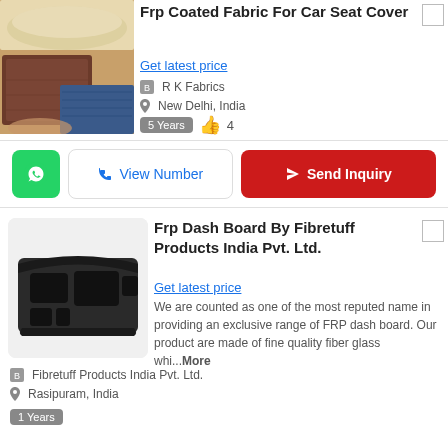[Figure (photo): Rolled leather fabric swatches in beige and brown tones]
Frp Coated Fabric For Car Seat Cover
Get latest price
R K Fabrics
New Delhi, India
5 Years  👍 4
View Number | Send Inquiry
[Figure (photo): FRP dash board auto part in dark grey/black]
Frp Dash Board By Fibretuff Products India Pvt. Ltd.
Get latest price
We are counted as one of the most reputed name in providing an exclusive range of FRP dash board. Our product are made of fine quality fiber glass whi...More
Fibretuff Products India Pvt. Ltd.
Rasipuram, India
1 Years